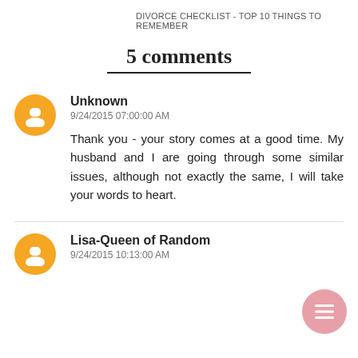DIVORCE CHECKLIST - TOP 10 THINGS TO REMEMBER
5 comments
Unknown
9/24/2015 07:00:00 AM
Thank you - your story comes at a good time. My husband and I are going through some similar issues, although not exactly the same, I will take your words to heart.
Lisa-Queen of Random
9/24/2015 10:13:00 AM